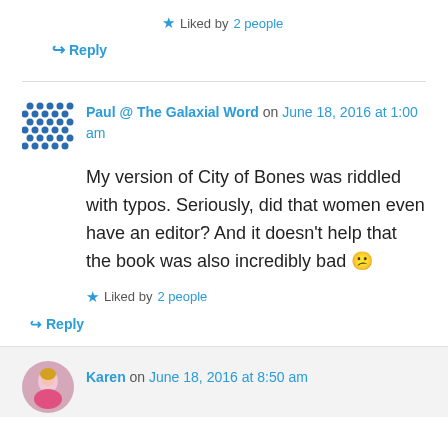★ Liked by 2 people
↪ Reply
Paul @ The Galaxial Word on June 18, 2016 at 1:00 am
My version of City of Bones was riddled with typos. Seriously, did that women even have an editor? And it doesn't help that the book was also incredibly bad 😕
★ Liked by 2 people
↪ Reply
Karen on June 18, 2016 at 8:50 am